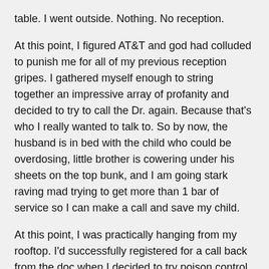table. I went outside. Nothing. No reception.
At this point, I figured AT&T and god had colluded to punish me for all of my previous reception gripes. I gathered myself enough to string together an impressive array of profanity and decided to try to call the Dr. again. Because that's who I really wanted to talk to. So by now, the husband is in bed with the child who could be overdosing, little brother is cowering under his sheets on the top bunk, and I am going stark raving mad trying to get more than 1 bar of service so I can make a call and save my child.
At this point, I was practically hanging from my rooftop. I'd successfully registered for a call back from the doc when I decided to try poison control again. Someone answers, there's a long pause, and then they speak. But not in a way that I can understand. Enter insanity.